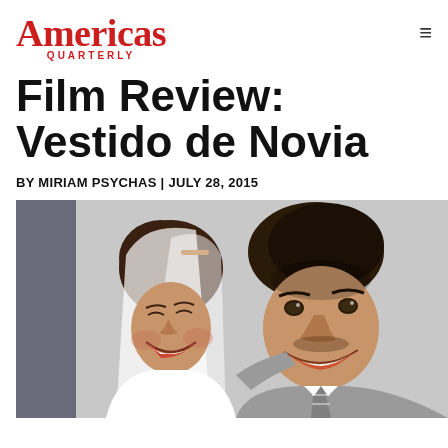Americas Quarterly
Film Review: Vestido de Novia
BY MIRIAM PSYCHAS | JULY 28, 2015
[Figure (photo): A smiling bride and groom posing together. The woman is wearing a wedding veil with a decorative headpiece and has dark curly hair. The man is in a grey suit with a striped tie. Both appear to be laughing or smiling warmly.]